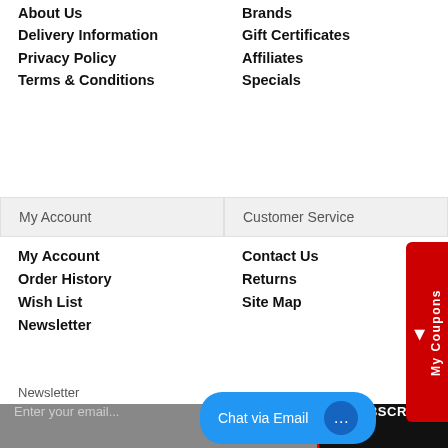About Us
Delivery Information
Privacy Policy
Terms & Conditions
Brands
Gift Certificates
Affiliates
Specials
My Account
Customer Service
My Account
Order History
Wish List
Newsletter
Contact Us
Returns
Site Map
Newsletter
Enter your email...
SUBSCRIBE
Chat via Email